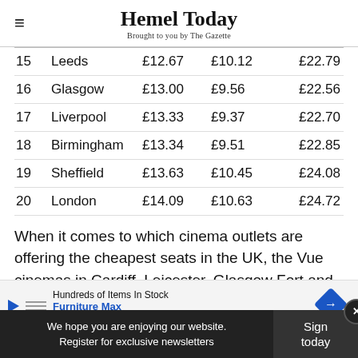Hemel Today — Brought to you by The Gazette
| 15 | Leeds | £12.67 | £10.12 | £22.79 |
| 16 | Glasgow | £13.00 | £9.56 | £22.56 |
| 17 | Liverpool | £13.33 | £9.37 | £22.70 |
| 18 | Birmingham | £13.34 | £9.51 | £22.85 |
| 19 | Sheffield | £13.63 | £10.45 | £24.08 |
| 20 | London | £14.09 | £10.63 | £24.72 |
When it comes to which cinema outlets are offering the cheapest seats in the UK, the Vue cinemas in Cardiff, Leicester, Glasgow Fort and Oxford... can be purchased for just £4.99.
[Figure (other): Advertisement banner: Hundreds of Items In Stock — Furniture Max, with blue diamond arrow logo]
We hope you are enjoying our website. Register for exclusive newsletters | Sign today